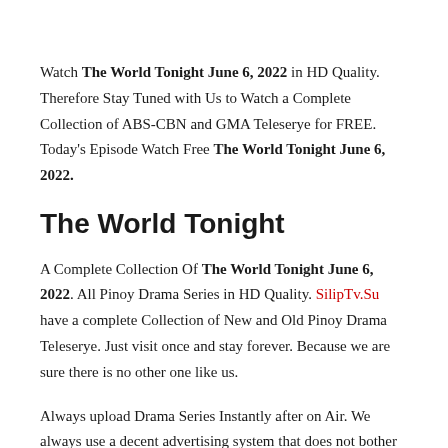Watch The World Tonight June 6, 2022 in HD Quality. Therefore Stay Tuned with Us to Watch a Complete Collection of ABS-CBN and GMA Teleserye for FREE. Today's Episode Watch Free The World Tonight June 6, 2022.
The World Tonight
A Complete Collection Of The World Tonight June 6, 2022. All Pinoy Drama Series in HD Quality. SilipTv.Su have a complete Collection of New and Old Pinoy Drama Teleserye. Just visit once and stay forever. Because we are sure there is no other one like us.
Always upload Drama Series Instantly after on Air. We always use a decent advertising system that does not bother our website users. We are trying our best to give you and your Family and